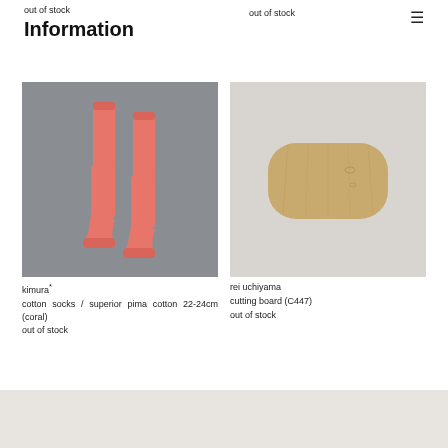out of stock
Information
out of stock
[Figure (photo): Two coral/pink cotton socks laid flat on a gray background]
kimura*
cotton socks / superior pima cotton 22-24cm (coral)
out of stock
[Figure (photo): A rounded rectangular wooden cutting board on a light gray background]
rei uchiyama
cutting board (C447)
out of stock
[Figure (photo): Bottom partial image showing a light beige/cream background, partially cut off]